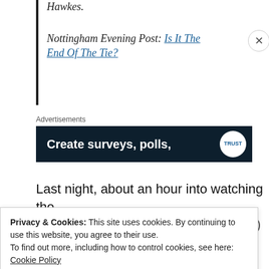Hawkes.
Nottingham Evening Post: Is It The End Of The Tie?
Advertisements
[Figure (screenshot): Dark blue advertisement banner reading 'Create surveys, polls,' with a white circular logo on the right]
Last night, about an hour into watching the delightfully funny and unpredictable (*) Paris
Privacy & Cookies: This site uses cookies. By continuing to use this website, you agree to their use.
To find out more, including how to control cookies, see here:
Cookie Policy

Close and accept